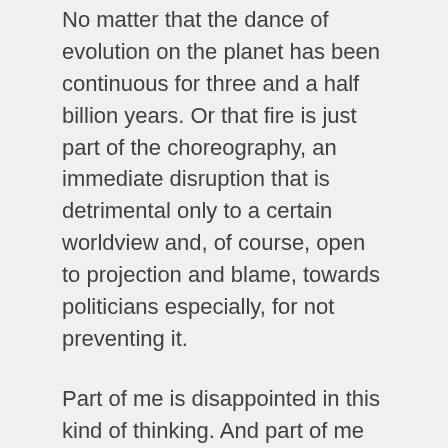No matter that the dance of evolution on the planet has been continuous for three and a half billion years. Or that fire is just part of the choreography, an immediate disruption that is detrimental only to a certain worldview and, of course, open to projection and blame, towards politicians especially, for not preventing it.
Part of me is disappointed in this kind of thinking. And part of me is empathic for her situation and why she would want to write such things. It would make her feel better to have communicated the truth from her soul, rather than what her profession would have her do, that is to present only the facts.
It is unfair to be critical because in these challenging times we all need an outlet to process change that we couldn't have seen coming.